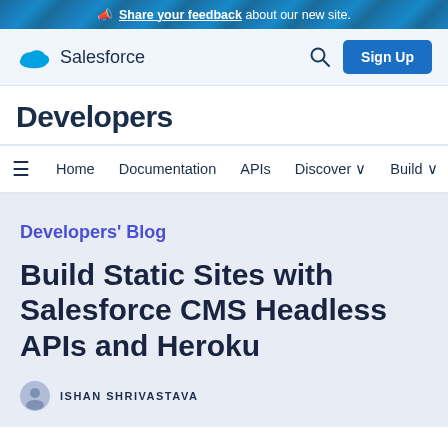📣 Share your feedback about our new site.
[Figure (logo): Salesforce cloud logo with text 'Salesforce', search icon, and Sign Up button]
Developers
Home  Documentation  APIs  Discover  Build  C
Developers' Blog
Build Static Sites with Salesforce CMS Headless APIs and Heroku
ISHAN SHRIVASTAVA